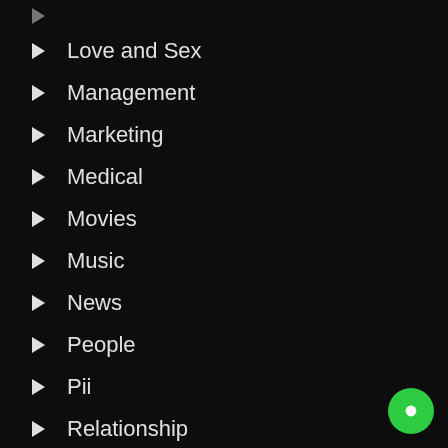Love and Sex
Management
Marketing
Medical
Movies
Music
News
People
Pii
Relationship
Science
SEO